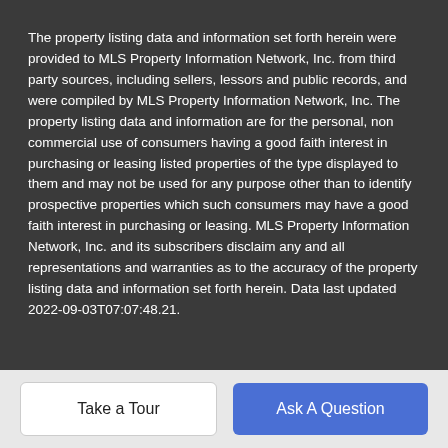The property listing data and information set forth herein were provided to MLS Property Information Network, Inc. from third party sources, including sellers, lessors and public records, and were compiled by MLS Property Information Network, Inc. The property listing data and information are for the personal, non commercial use of consumers having a good faith interest in purchasing or leasing listed properties of the type displayed to them and may not be used for any purpose other than to identify prospective properties which such consumers may have a good faith interest in purchasing or leasing. MLS Property Information Network, Inc. and its subscribers disclaim any and all representations and warranties as to the accuracy of the property listing data and information set forth herein. Data last updated 2022-09-03T07:07:48.21.
Take a Tour
Ask A Question